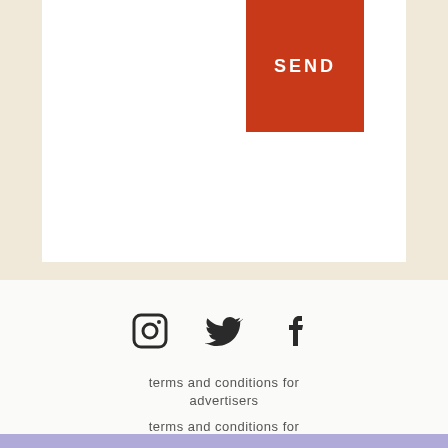[Figure (screenshot): White content box with an orange-red SEND button in the top right corner]
[Figure (infographic): Social media icons: Instagram, Twitter, Facebook]
terms and conditions for advertisers
terms and conditions for publishers
privacy policy
ADCOMBO LP © COPYRIGHT 2014 – 2022